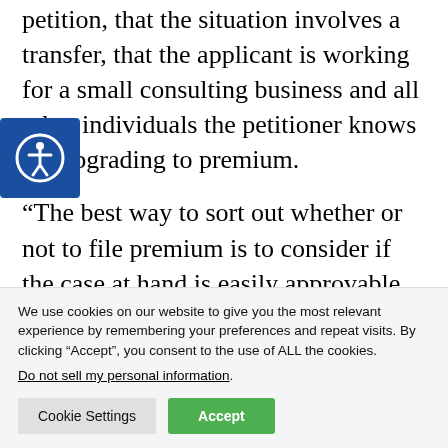petition, that the situation involves a transfer, that the applicant is working for a small consulting business and all other individuals the petitioner knows are upgrading to premium.
“The best way to sort out whether or not to file premium is to consider if the case at hand is easily approvable. If it is, do premium,” added Banerjee. “That said, in new cases or those needing additional scrutiny by CIS, avoid
We use cookies on our website to give you the most relevant experience by remembering your preferences and repeat visits. By clicking “Accept”, you consent to the use of ALL the cookies.
Do not sell my personal information.